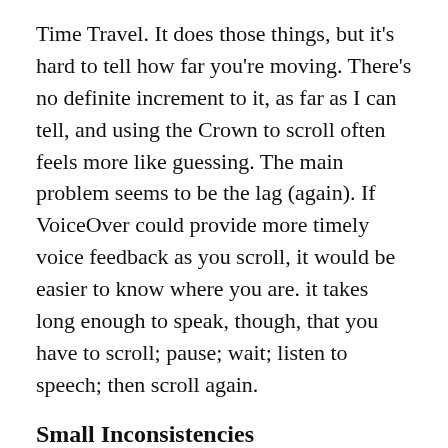Time Travel. It does those things, but it's hard to tell how far you're moving. There's no definite increment to it, as far as I can tell, and using the Crown to scroll often feels more like guessing. The main problem seems to be the lag (again). If VoiceOver could provide more timely voice feedback as you scroll, it would be easier to know where you are. it takes long enough to speak, though, that you have to scroll; pause; wait; listen to speech; then scroll again.
Small Inconsistencies
There are a few odd omissions and missing features on the Watch. For instance, on an iPhone 6s or 6s Plus, you can push harder on anything under your finger to activate it, instead of double- or split-tapping. On the Watch, you can't do that, despite this being the first-ever device to include Force Touch. It's possible that